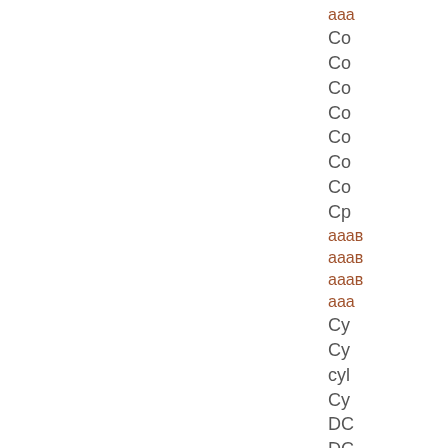ааа
Co
Co
Co
Co
Co
Co
Co
Cp
ааав
ааав
ааав
ааа
Cy
Cy
cyl
Cy
DC
DC